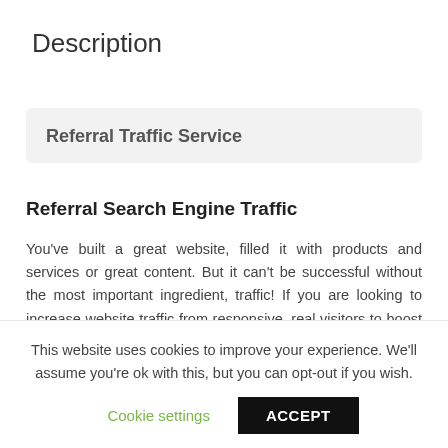Description
Referral Traffic Service
Referral Search Engine Traffic
You've built a great website, filled it with products and services or great content. But it can't be successful without the most important ingredient, traffic! If you are looking to increase website traffic from responsive, real visitors to boost your website, blog or affiliate programs, you have come to the right
This website uses cookies to improve your experience. We'll assume you're ok with this, but you can opt-out if you wish.
Cookie settings  ACCEPT